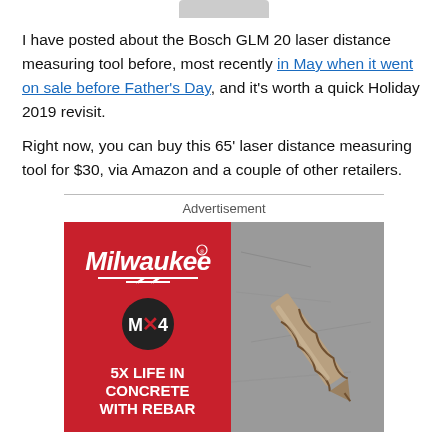[Figure (photo): Partial view of Bosch GLM 20 laser distance measuring tool at the top of the page]
I have posted about the Bosch GLM 20 laser distance measuring tool before, most recently in May when it went on sale before Father's Day, and it's worth a quick Holiday 2019 revisit.
Right now, you can buy this 65' laser distance measuring tool for $30, via Amazon and a couple of other retailers.
Advertisement
[Figure (illustration): Milwaukee Tool MX4 advertisement banner showing the Milwaukee logo, MX4 badge, text '5X LIFE IN CONCRETE WITH REBAR', and a photo of a drill bit on concrete background]